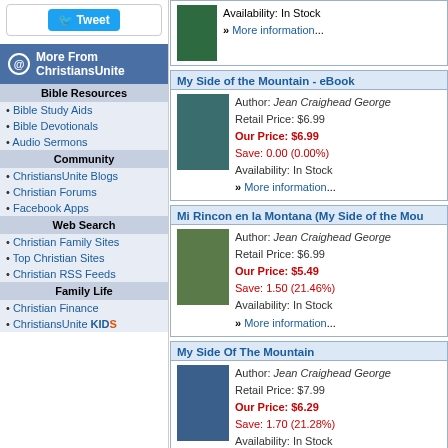[Figure (screenshot): Tweet button widget box]
More From ChristiansUnite
Bible Resources
Bible Study Aids
Bible Devotionals
Audio Sermons
Community
ChristiansUnite Blogs
Christian Forums
Facebook Apps
Web Search
Christian Family Sites
Top Christian Sites
Christian RSS Feeds
Family Life
Christian Finance
ChristiansUnite KIDS
My Side of the Mountain - eBook | Author: Jean Craighead George | Retail Price: $6.99 | Our Price: $6.99 | Save: 0.00 (0.00%) | Availability: In Stock | More information...
Mi Rincon en la Montana (My Side of the Mou... | Author: Jean Craighead George | Retail Price: $6.99 | Our Price: $5.49 | Save: 1.50 (21.46%) | Availability: In Stock | More information...
My Side Of The Mountain | Author: Jean Craighead George | Retail Price: $7.99 | Our Price: $6.29 | Save: 1.70 (21.28%) | Availability: In Stock | More information...
Pocket Guide to the Outdoors: Based on My S... Mountain | Author: Jean Craighead George | Retail Price: $9.99 | Our Price: $7.99